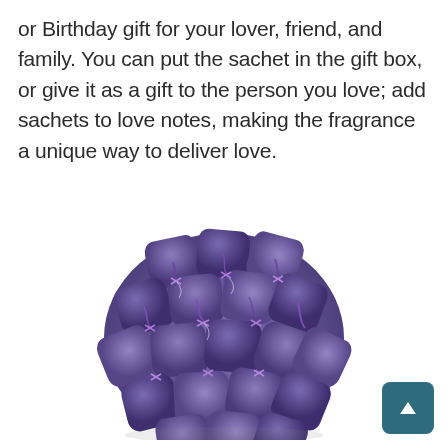or Birthday gift for your lover, friend, and family. You can put the sachet in the gift box, or give it as a gift to the person you love; add sachets to love notes, making the fragrance a unique way to deliver love.
[Figure (photo): A large rounded cluster of small purple lavender sachets tied with purple ribbon bows, arranged together to form a bouquet-like ball shape on a white background.]